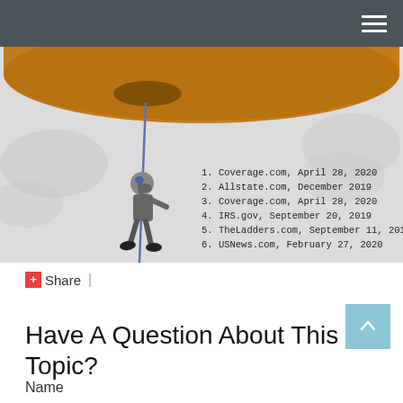[Figure (illustration): Illustration of a person in a grey suit rappelling down a rope from a large brown ceiling/platform, with clouds in the background. Overlaid text lists numbered references.]
1. Coverage.com, April 28, 2020
2. Allstate.com, December 2019
3. Coverage.com, April 28, 2020
4. IRS.gov, September 20, 2019
5. TheLadders.com, September 11, 2019
6. USNews.com, February 27, 2020
Share |
Have A Question About This Topic?
Name